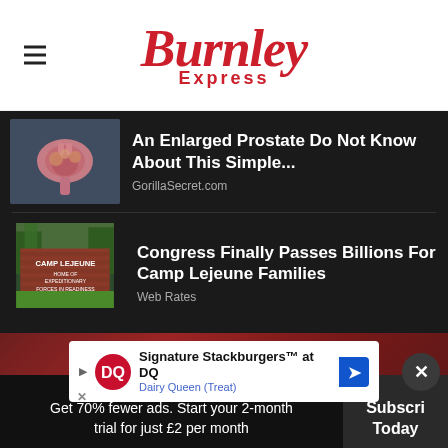Burnley Express
An Enlarged Prostate Do Not Know About This Simple...
GorillaSecret.com
Congress Finally Passes Billions For Camp Lejeune Families
Web Rates
[Figure (screenshot): Dairy Queen advertisement: Signature Stackburgers at DQ with DQ logo and navigation arrow]
Get 70% fewer ads. Start your 2-month trial for just £2 per month
Subscribe Today